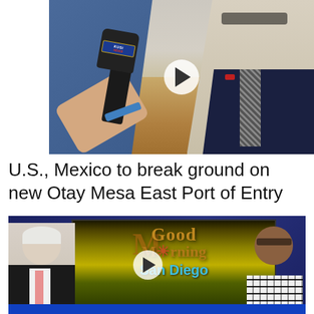[Figure (screenshot): KUSI News reporter holding a microphone interviewing a man in a suit outdoors at the Otay Mesa site, with desert landscape in background. Video thumbnail with play button overlay.]
U.S., Mexico to break ground on new Otay Mesa East Port of Entry
[Figure (screenshot): Good Morning San Diego TV show screenshot with two men seated in a studio, the show's logo visible on screen behind them. Video thumbnail with play button overlay.]